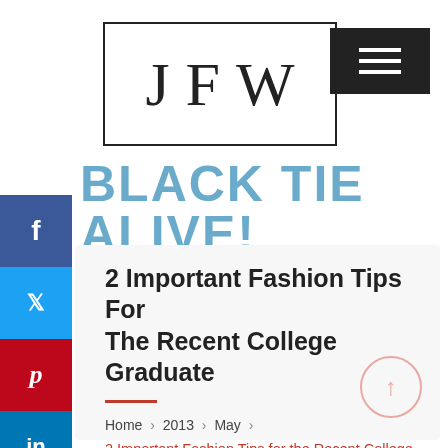[Figure (logo): JFW logo in a rectangular border with a bow-tie icon below, and a hamburger menu button in the top right]
BLACK TIE ALIVE!
2 Important Fashion Tips For The Recent College Graduate
Home > 2013 > May >
2 Important Fashion Tips for the Recent College Graduate